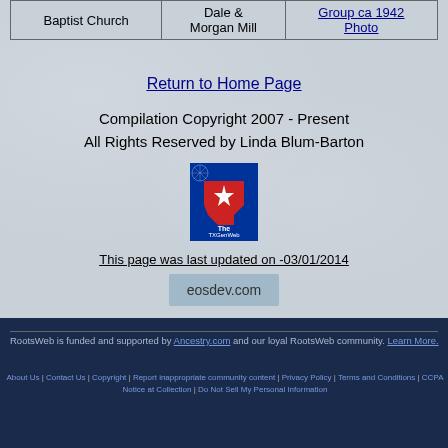| Baptist Church | Dale & Morgan Mill | Group ca 1942 Photo |
| --- | --- | --- |
Return to Home Page
Compilation Copyright 2007 - Present
All Rights Reserved by Linda Blum-Barton
[Figure (logo): The TXGenWeb Project logo - red white and blue with Texas star and spider web]
This page was last updated on -03/01/2014
[Figure (other): eosdev.com banner]
RootsWeb is funded and supported by Ancestry.com and our loyal RootsWeb community. Learn More.
About Us | Contact Us | Copyright | Report inappropriate community content | Privacy Policy | Terms and Conditions | CCPA Notice at Collection | Do Not Sell My Personal Information